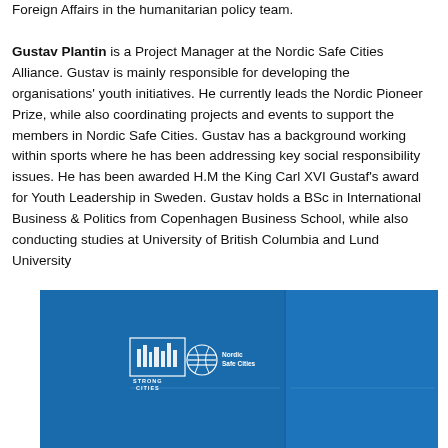Foreign Affairs in the humanitarian policy team.

Gustav Plantin is a Project Manager at the Nordic Safe Cities Alliance. Gustav is mainly responsible for developing the organisations' youth initiatives. He currently leads the Nordic Pioneer Prize, while also coordinating projects and events to support the members in Nordic Safe Cities. Gustav has a background working within sports where he has been addressing key social responsibility issues. He has been awarded H.M the King Carl XVI Gustaf's award for Youth Leadership in Sweden. Gustav holds a BSc in International Business & Politics from Copenhagen Business School, while also conducting studies at University of British Columbia and Lund University
[Figure (photo): Blue folder/brochure with Strong Cities and Nordic Safe Cities logos on the cover]